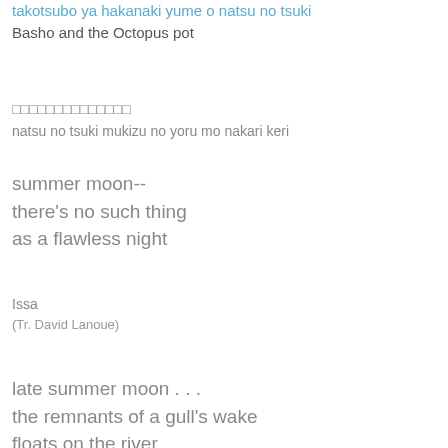takotsubo ya hakanaki yume o natsu no tsuki
Basho and the Octopus pot
□□□□□□□□□□□□□□
natsu no tsuki mukizu no yoru mo nakari keri
summer moon--
there's no such thing
as a flawless night
Issa
(Tr. David Lanoue)
late summer moon . . .
the remnants of a gull's wake
floats on the river